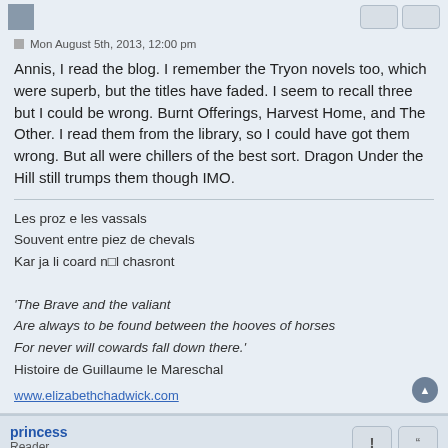Mon August 5th, 2013, 12:00 pm
Annis, I read the blog. I remember the Tryon novels too, which were superb, but the titles have faded. I seem to recall three but I could be wrong. Burnt Offerings, Harvest Home, and The Other. I read them from the library, so I could have got them wrong. But all were chillers of the best sort. Dragon Under the Hill still trumps them though IMO.
Les proz e les vassals
Souvent entre piez de chevals
Kar ja li coard n'll chasront

'The Brave and the valiant
Are always to be found between the hooves of horses
For never will cowards fall down there.'
Histoire de Guillaume le Mareschal
www.elizabethchadwick.com
princess
Reader